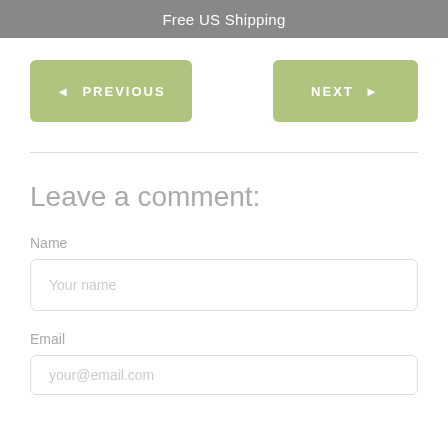Free US Shipping
PREVIOUS
NEXT
Leave a comment:
Name
Your name
Email
your@email.com